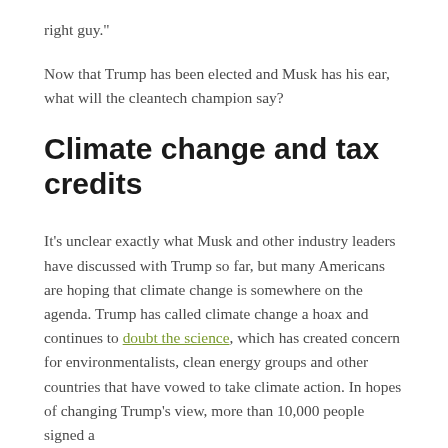right guy."
Now that Trump has been elected and Musk has his ear, what will the cleantech champion say?
Climate change and tax credits
It's unclear exactly what Musk and other industry leaders have discussed with Trump so far, but many Americans are hoping that climate change is somewhere on the agenda. Trump has called climate change a hoax and continues to doubt the science, which has created concern for environmentalists, clean energy groups and other countries that have vowed to take climate action. In hopes of changing Trump's view, more than 10,000 people signed a